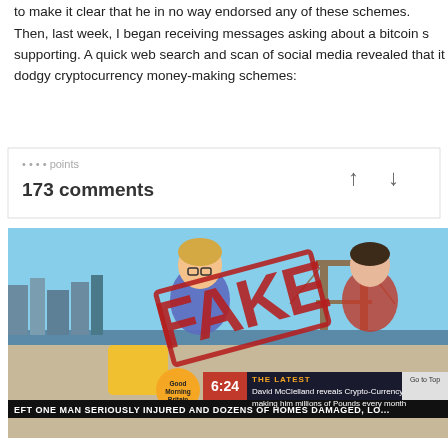to make it clear that he in no way endorsed any of these schemes. Then, last week, I began receiving messages asking about a bitcoin scheme he was supposedly supporting. A quick web search and scan of social media revealed that it was being used to promote dodgy cryptocurrency money-making schemes:
[Figure (screenshot): Screenshot showing 173 comments with voting arrows, followed by a TV show image from Good Morning Britain with a 'FAKE' stamp overlaid. The image shows two people on a sofa with a London skyline background. Lower third shows 'THE LATEST: David McClelland reveals Crypto-Currency making him millions of Pounds every month' at 6:24.]